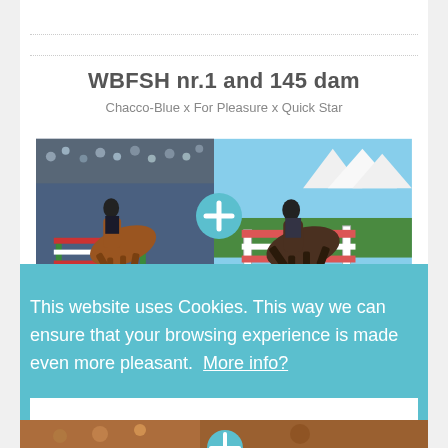WBFSH nr.1 and 145 dam
Chacco-Blue x For Pleasure x Quick Star
[Figure (photo): Two equestrian show jumping photos side by side with a plus circle icon overlaid between them. Left photo shows a rider on a chestnut horse jumping in an indoor arena with a crowd. Right photo shows a rider on a dark horse jumping outdoors with white tents in the background.]
This website uses Cookies. This way we can ensure that your browsing experience is made even more pleasant.  More info?
I agree